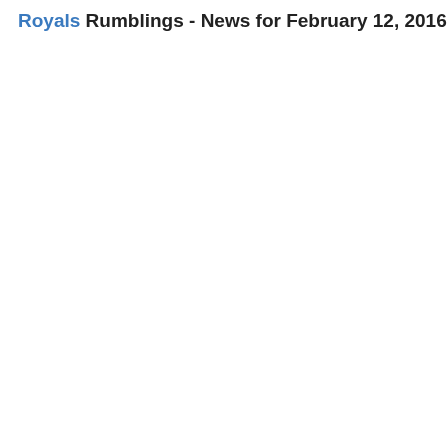Royals Rumblings - News for February 12, 2016